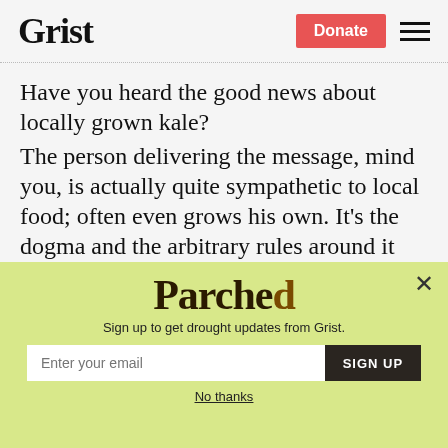Grist | Donate
Have you heard the good news about locally grown kale? The person delivering the message, mind you, is actually quite sympathetic to local food; often even grows his own. It’s the dogma and the arbitrary rules around it that the writer finds galling, that and the
[Figure (infographic): Parched newsletter signup popup with light yellow-green background. Contains 'Parched' logo text, subtitle 'Sign up to get drought updates from Grist.', email input field, SIGN UP button, and 'No thanks' link. Close button (X) in top right corner.]